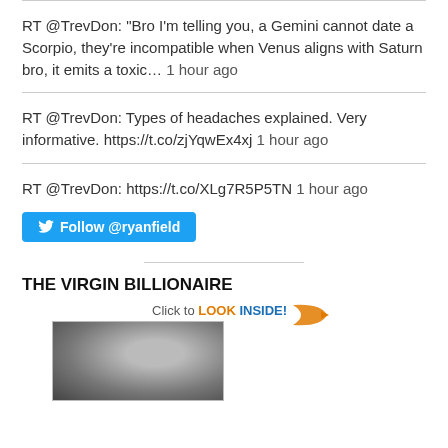RT @TrevDon: "Bro I'm telling you, a Gemini cannot date a Scorpio, they're incompatible when Venus aligns with Saturn bro, it emits a toxic… 1 hour ago
RT @TrevDon: Types of headaches explained. Very informative. https://t.co/zjYqwEx4xj 1 hour ago
RT @TrevDon: https://t.co/XLg7R5P5TN 1 hour ago
[Figure (other): Follow @ryanfield Twitter button]
THE VIRGIN BILLIONAIRE
[Figure (other): Book cover image with 'Click to LOOK INSIDE!' banner and arrow, showing a close-up of a person's face]